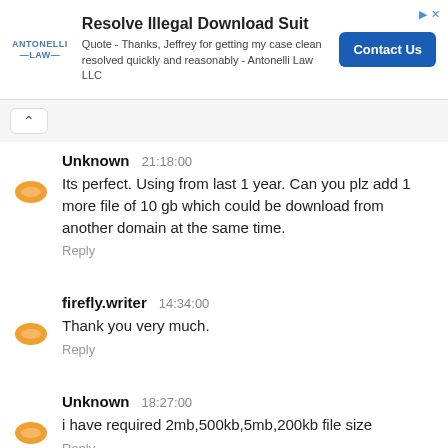[Figure (screenshot): Advertisement banner for Antonelli Law with logo, title 'Resolve Illegal Download Suit', testimonial quote, and 'Contact Us' button]
Unknown   21:18:00
Its perfect. Using from last 1 year. Can you plz add 1 more file of 10 gb which could be download from another domain at the same time.
Reply
firefly.writer   14:34:00
Thank you very much.
Reply
Unknown   18:27:00
i have required 2mb,500kb,5mb,200kb file size
Reply